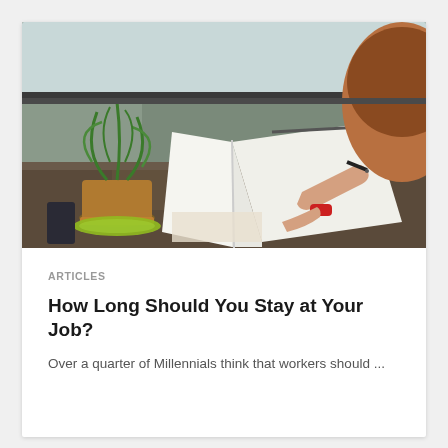[Figure (photo): Person writing in a notebook at a desk with a potted plant nearby, viewed from behind/side, desk near window]
ARTICLES
How Long Should You Stay at Your Job?
Over a quarter of Millennials think that workers should ...